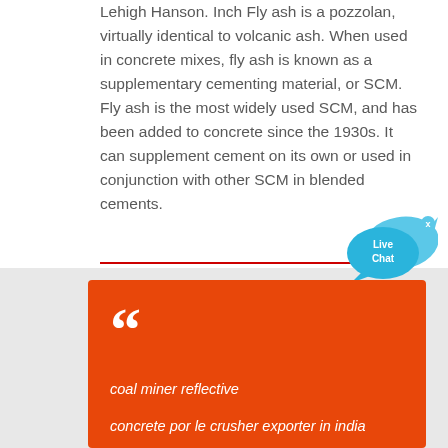Lehigh Hanson. Inch Fly ash is a pozzolan, virtually identical to volcanic ash. When used in concrete mixes, fly ash is known as a supplementary cementing material, or SCM. Fly ash is the most widely used SCM, and has been added to concrete since the 1930s. It can supplement cement on its own or used in conjunction with other SCM in blended cements.
[Figure (other): Live Chat widget bubble in blue]
coal miner reflective
concrete por le crusher exporter in india
mining technologies gypsum
vibrating screen indiacrushers
target ldayo i rdayo garnet